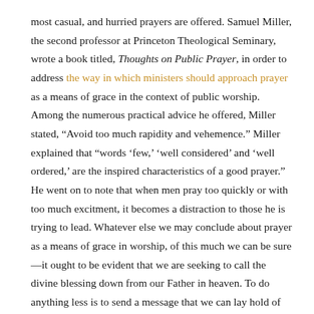most casual, and hurried prayers are offered. Samuel Miller, the second professor at Princeton Theological Seminary, wrote a book titled, Thoughts on Public Prayer, in order to address the way in which ministers should approach prayer as a means of grace in the context of public worship. Among the numerous practical advice he offered, Miller stated, “Avoid too much rapidity and vehemence.” Miller explained that “words ‘few,’ ‘well considered’ and ‘well ordered,’ are the inspired characteristics of a good prayer.” He went on to note that when men pray too quickly or with too much excitment, it becomes a distraction to those he is trying to lead. Whatever else we may conclude about prayer as a means of grace in worship, of this much we can be sure—it ought to be evident that we are seeking to call the divine blessing down from our Father in heaven. To do anything less is to send a message that we can lay hold of the blessing of the means of grace in our own strength.